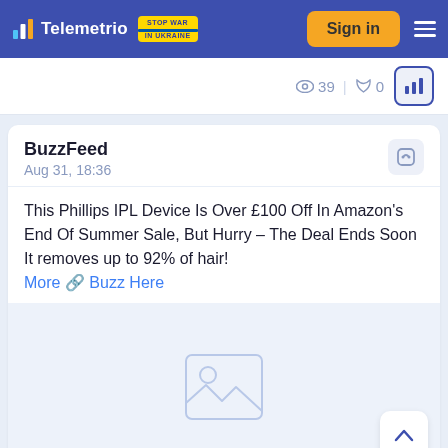Telemetrio | STOP WAR IN UKRAINE | Sign in
39 | 0
BuzzFeed
Aug 31, 18:36
This Phillips IPL Device Is Over £100 Off In Amazon's End Of Summer Sale, But Hurry – The Deal Ends Soon It removes up to 92% of hair!
More 🔗 Buzz Here
[Figure (illustration): Placeholder image icon for an article thumbnail]
40 | 0